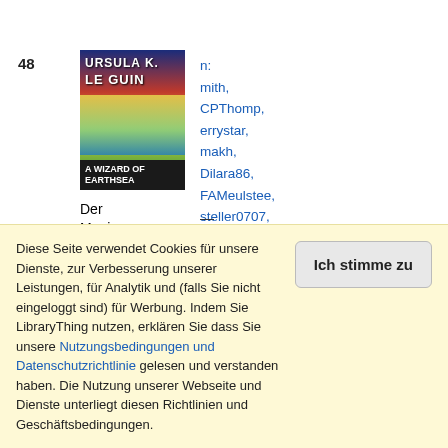48
[Figure (illustration): Book cover of 'A Wizard of Earthsea' by Ursula K. Le Guin — shows stylized fantasy imagery with blue, red, yellow, and green colors, white title text at bottom.]
Der Magier der Erdsee von Ursula K. Le Guin
n:
mith,
CPThomp,
errystar,
makh,
Dilara86,
FAMeulstee,
steller0707,
pavelos,
guyalice,
konallis,
marycloseburn
—
13
mehr
Diese Seite verwendet Cookies für unsere Dienste, zur Verbesserung unserer Leistungen, für Analytik und (falls Sie nicht eingeloggt sind) für Werbung. Indem Sie LibraryThing nutzen, erklären Sie dass Sie unsere Nutzungsbedingungen und Datenschutzrichtlinie gelesen und verstanden haben. Die Nutzung unserer Webseite und Dienste unterliegt diesen Richtlinien und Geschäftsbedingungen.